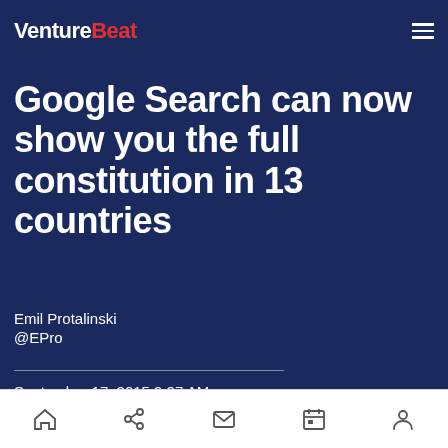VentureBeat
Google Search can now show you the full constitution in 13 countries
Emil Protalinski
@EPro
September 17, 2015 9:27 AM
[Figure (screenshot): Partial screenshot of a web page or app result, showing a blue circle and green rectangle at the bottom edge, cropped]
Navigation bar with home, share, mail, calendar, and profile icons